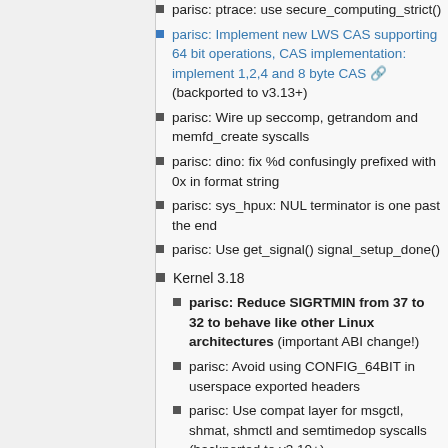parisc: ptrace: use secure_computing_strict()
parisc: Implement new LWS CAS supporting 64 bit operations, CAS implementation: implement 1,2,4 and 8 byte CAS (backported to v3.13+)
parisc: Wire up seccomp, getrandom and memfd_create syscalls
parisc: dino: fix %d confusingly prefixed with 0x in format string
parisc: sys_hpux: NUL terminator is one past the end
parisc: Use get_signal() signal_setup_done()
Kernel 3.18
parisc: Reduce SIGRTMIN from 37 to 32 to behave like other Linux architectures (important ABI change!)
parisc: Avoid using CONFIG_64BIT in userspace exported headers
parisc: Use compat layer for msgctl, shmat, shmctl and semtimedop syscalls (backported to v3.10+)